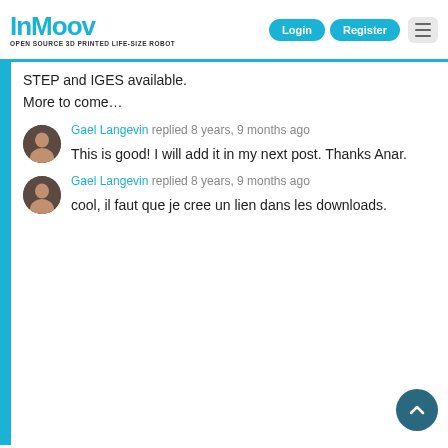InMoov — OPEN SOURCE 3D PRINTED LIFE-SIZE ROBOT | Login | Register
STEP and IGES available.
More to come…
Gael Langevin replied 8 years, 9 months ago

This is good! I will add it in my next post. Thanks Anar.
Gael Langevin replied 8 years, 9 months ago

cool, il faut que je cree un lien dans les downloads.